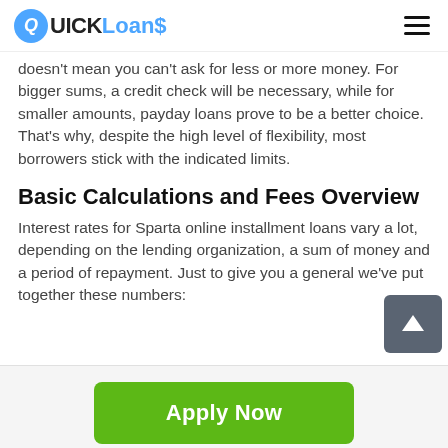QUICK Loans
doesn't mean you can't ask for less or more money. For bigger sums, a credit check will be necessary, while for smaller amounts, payday loans prove to be a better choice. That's why, despite the high level of flexibility, most borrowers stick with the indicated limits.
Basic Calculations and Fees Overview
Interest rates for Sparta online installment loans vary a lot, depending on the lending organization, a sum of money and a period of repayment. Just to give you a general we've put together these numbers:
[Figure (other): Green Apply Now button with text 'Apply Now']
Applying does NOT affect your credit score!
No credit check to apply.